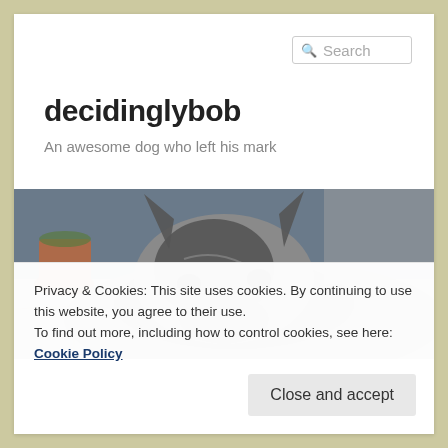Search
decidinglybob
An awesome dog who left his mark
[Figure (photo): Close-up photo of a grey and black dog (Norwegian Elkhound type) lying on paving stones outdoors, with a terracotta plant pot visible in the background to the left.]
Privacy & Cookies: This site uses cookies. By continuing to use this website, you agree to their use.
To find out more, including how to control cookies, see here: Cookie Policy
Close and accept